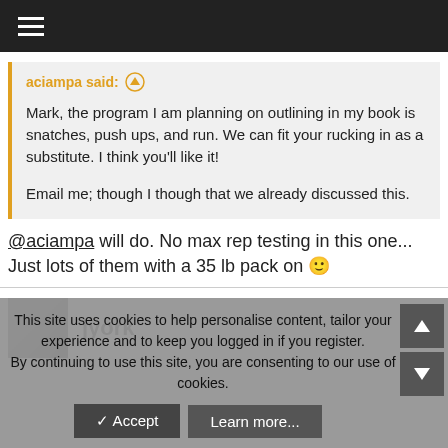Navigation bar with hamburger menu
aciampa said: [upvote icon]
Mark, the program I am planning on outlining in my book is snatches, push ups, and run. We can fit your rucking in as a substitute. I think you'll like it!
Email me; though I though that we already discussed this.
@aciampa will do. No max rep testing in this one... Just lots of them with a 35 lb pack on 🙂
jyork
This site uses cookies to help personalise content, tailor your experience and to keep you logged in if you register. By continuing to use this site, you are consenting to our use of cookies.